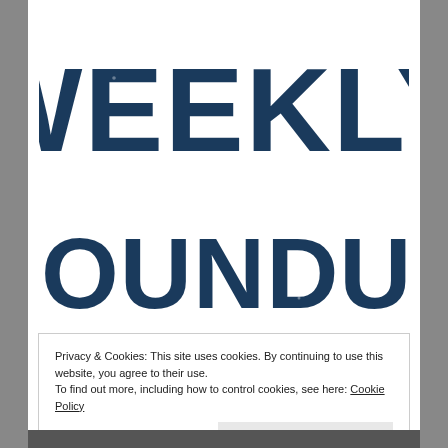WEEKLY ROUNDUP
Privacy & Cookies: This site uses cookies. By continuing to use this website, you agree to their use.
To find out more, including how to control cookies, see here: Cookie Policy
Close and accept